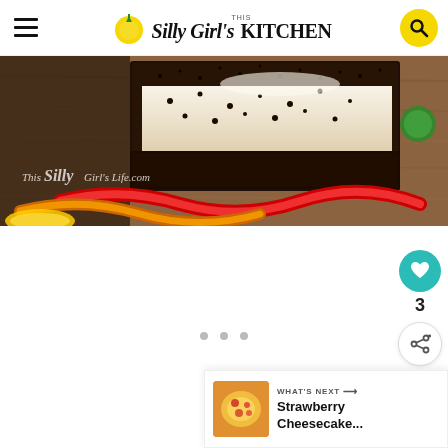This Silly Girl's KITCHEN
[Figure (photo): Close-up photo of a chocolate Oreo cheesecake slice topped with dark crumbs, with gummy worm candies (red and orange) arranged around the base, on a wooden board. Watermark reads 'This Silly Girl's Life.com']
[Figure (photo): Thumbnail photo of a Strawberry Cheesecake]
WHAT'S NEXT → Strawberry Cheesecake...